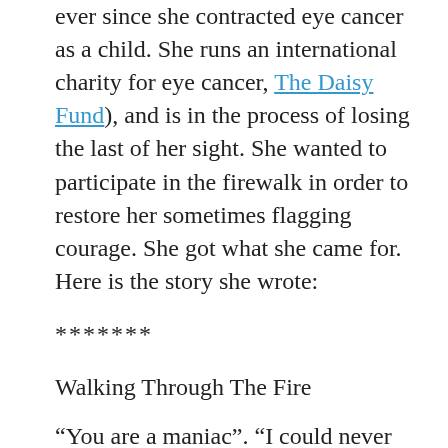ever since she contracted eye cancer as a child. She runs an international charity for eye cancer, The Daisy Fund), and is in the process of losing the last of her sight. She wanted to participate in the firewalk in order to restore her sometimes flagging courage. She got what she came for. Here is the story she wrote:
*******
Walking Through The Fire
“You are a maniac”. “I could never do that”. “You are so much braver than me”. Some of the reactions I received on telling people I walked barefoot across hot coals last Friday.
Firewalking is used in purification ceremonies and as a rite of passage in cultures worldwide. For example, Kai...